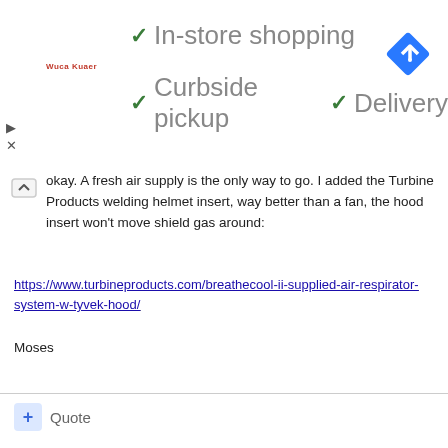[Figure (screenshot): Advertisement banner showing Wuca Kuaer logo with checkmarks for In-store shopping, Curbside pickup, Delivery, and a blue diamond navigation icon]
okay. A fresh air supply is the only way to go. I added the Turbine Products welding helmet insert, way better than a fan, the hood insert won't move shield gas around:
https://www.turbineproducts.com/breathecool-ii-supplied-air-respirator-system-w-tyvek-hood/
Moses
+ Quote
ian cj10
Posted January 13, 2021